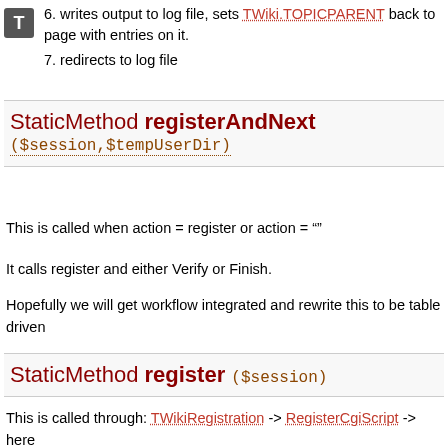[Figure (logo): Small grey square icon with bold white letter T]
6. writes output to log file, sets TWiki.TOPICPARENT back to page with entries on it.
7. redirects to log file
StaticMethod registerAndNext ($session,$tempUserDir)
This is called when action = register or action = ""
It calls register and either Verify or Finish.
Hopefully we will get workflow integrated and rewrite this to be table driven
StaticMethod register ($session)
This is called through: TWikiRegistration -> RegisterCgiScript -> here
1. gets rows and fields from the query
2. calls _validateRegistration() to ensure required fields correct, else OopsException